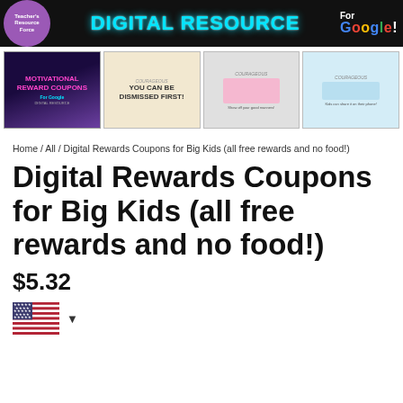[Figure (illustration): Banner with 'DIGITAL RESOURCE' neon text and 'For Google!' logo on dark background with Teacher Resource Force logo]
[Figure (illustration): Four product thumbnails showing motivational reward coupons digital resource previews]
Home / All / Digital Rewards Coupons for Big Kids (all free rewards and no food!)
Digital Rewards Coupons for Big Kids (all free rewards and no food!)
$5.32
[Figure (illustration): US flag icon with dropdown arrow for currency/region selection]